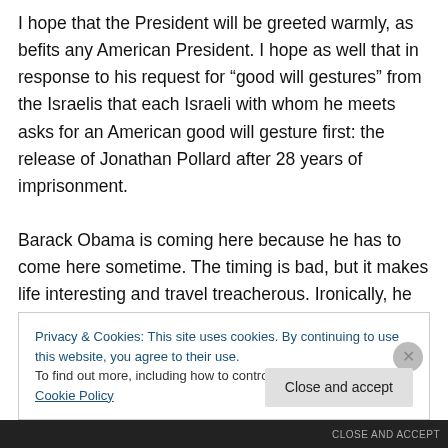I hope that the President will be greeted warmly, as befits any American President. I hope as well that in response to his request for “good will gestures” from the Israelis that each Israeli with whom he meets asks for an American good will gesture first: the release of Jonathan Pollard after 28 years of imprisonment.
Barack Obama is coming here because he has to come here sometime. The timing is bad, but it makes life interesting and travel treacherous. Ironically, he has finally united most Israelis and Palestinians who, for different reasons, will be happy when he has left.
Privacy & Cookies: This site uses cookies. By continuing to use this website, you agree to their use.
To find out more, including how to control cookies, see here: Cookie Policy
CLOSE AND ACCEPT